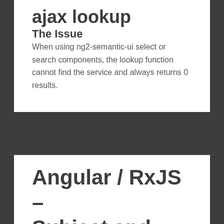ajax lookup
The Issue
When using ng2-semantic-ui select or search components, the lookup function cannot find the service and always returns 0 results.
Angular / RxJS – Subject and BehaviorSubject